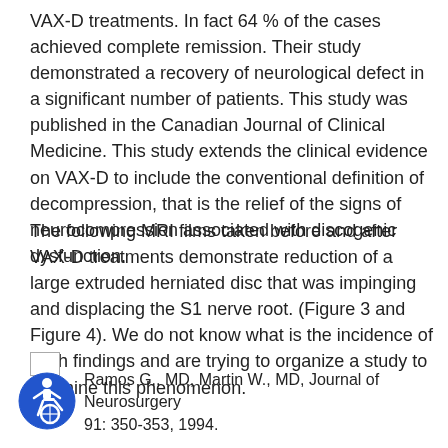VAX-D treatments. In fact 64 % of the cases achieved complete remission. Their study demonstrated a recovery of neurological defect in a significant number of patients. This study was published in the Canadian Journal of Clinical Medicine. This study extends the clinical evidence on VAX-D to include the conventional definition of decompression, that is the relief of the signs of neurocompression associated with discogenic dysfunction.
The following MRI films taken before and after VAX-D treatments demonstrate reduction of a large extruded herniated disc that was impinging and displacing the S1 nerve root. (Figure 3 and Figure 4). We do not know what is the incidence of such findings and are trying to organize a study to examine this phenomenon.
[Figure (logo): Accessibility icon - blue circle with wheelchair user symbol]
Ramos G., MD, Martin W., MD, Journal of Neurosurgery 91: 350-353, 1994.